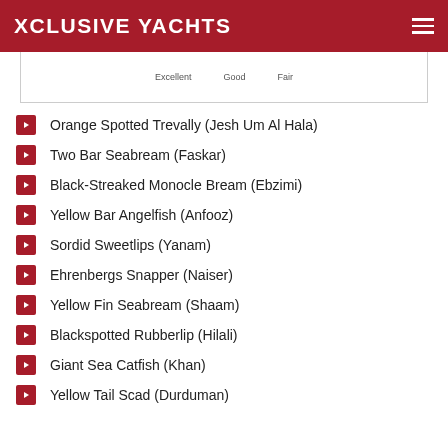XCLUSIVE YACHTS
Excellent   Good   Fair
Orange Spotted Trevally (Jesh Um Al Hala)
Two Bar Seabream (Faskar)
Black-Streaked Monocle Bream (Ebzimi)
Yellow Bar Angelfish (Anfooz)
Sordid Sweetlips (Yanam)
Ehrenbergs Snapper (Naiser)
Yellow Fin Seabream (Shaam)
Blackspotted Rubberlip (Hilali)
Giant Sea Catfish (Khan)
Yellow Tail Scad (Durduman)